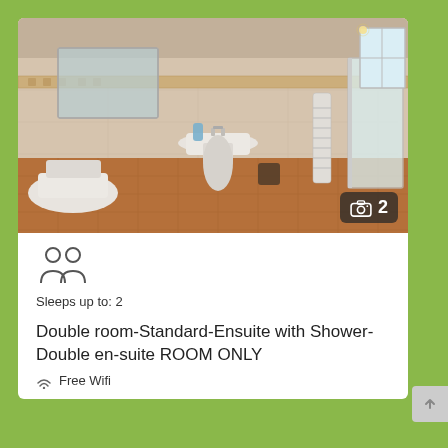[Figure (photo): Bathroom interior with pedestal sink, toilet, heated towel rail, decorative tiled border, and shower enclosure with glass door. Brown/terracotta patterned floor tiles, beige walls.]
Sleeps up to: 2
Double room-Standard-Ensuite with Shower-Double en-suite ROOM ONLY
Free Wifi